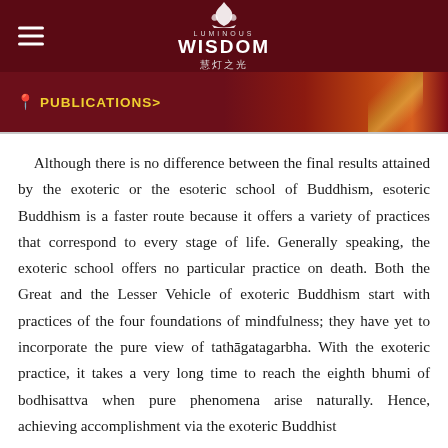LUMINOUS WISDOM 慧灯之光
PUBLICATIONS>
Although there is no difference between the final results attained by the exoteric or the esoteric school of Buddhism, esoteric Buddhism is a faster route because it offers a variety of practices that correspond to every stage of life. Generally speaking, the exoteric school offers no particular practice on death. Both the Great and the Lesser Vehicle of exoteric Buddhism start with practices of the four foundations of mindfulness; they have yet to incorporate the pure view of tathāgatagarbha. With the exoteric practice, it takes a very long time to reach the eighth bhumi of bodhisattva when pure phenomena arise naturally. Hence, achieving accomplishment via the exoteric Buddhist